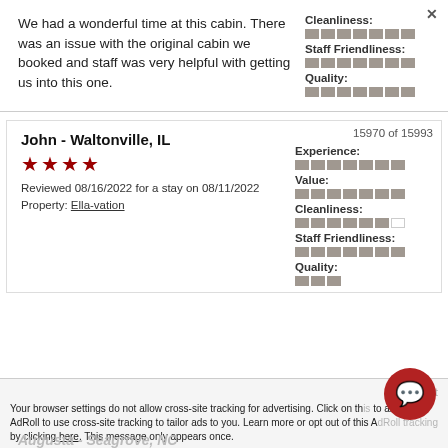We had a wonderful time at this cabin. There was an issue with the original cabin we booked and staff was very helpful with getting us into this one.
Cleanliness:
Staff Friendliness:
Quality:
John - Waltonville, IL
★★★★
Reviewed 08/16/2022 for a stay on 08/11/2022
Property: Ella-vation
15970 of 15993
Experience:
Value:
Cleanliness:
Staff Friendliness:
Quality:
Your browser settings do not allow cross-site tracking for advertising. Click on this to allow AdRoll to use cross-site tracking to tailor ads to you. Learn more or opt out of this AdRoll tracking by clicking here. This message only appears once.